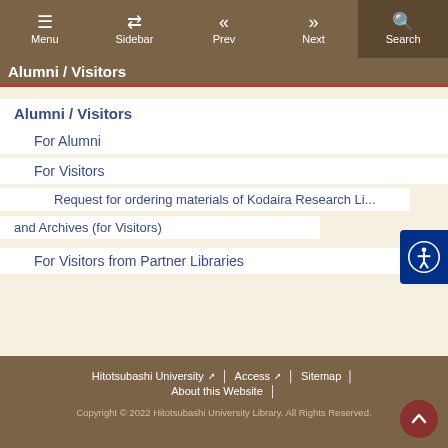Menu | Sidebar | Prev | Next | Search
Alumni / Visitors
Alumni / Visitors
For Alumni
For Visitors
Request for ordering materials of Kodaira Research Li... and Archives (for Visitors)
For Visitors from Partner Libraries
Hitotsubashi University | Access | Sitemap | About this Website
Copyright © 2022 Hitotsubashi University Library. All Rights Reserved.